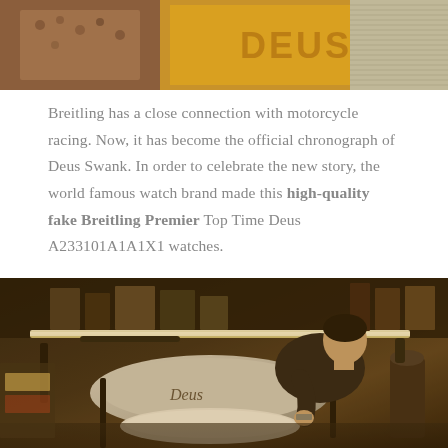[Figure (photo): Close-up photo of leather strap and yellow DEUS branded book/object with pages visible]
Breitling has a close connection with motorcycle racing. Now, it has become the official chronograph of Deus Swank. In order to celebrate the new story, the world famous watch brand made this high-quality fake Breitling Premier Top Time Deus A233101A1A1X1 watches.
[Figure (photo): Man working on a silver Deus branded motorcycle in a workshop/garage setting with warm lighting]